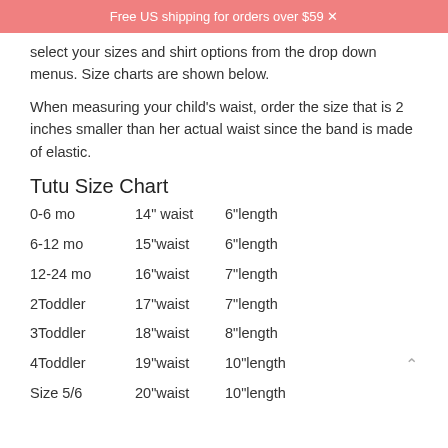Free US shipping for orders over $59
select your sizes and shirt options from the drop down menus. Size charts are shown below.
When measuring your child's waist, order the size that is 2 inches smaller than her actual waist since the band is made of elastic.
Tutu Size Chart
0-6 mo    14" waist   6"length
6-12 mo   15"waist   6"length
12-24 mo   16"waist   7"length
2Toddler   17"waist   7"length
3Toddler   18"waist   8"length
4Toddler   19"waist   10"length
Size 5/6   20"waist   10"length